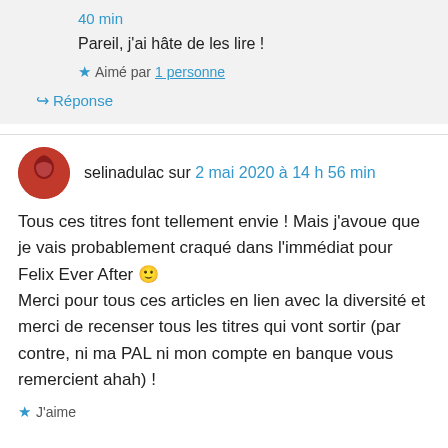40 min
Pareil, j'ai hâte de les lire !
Aimé par 1 personne
↳ Réponse
selinadulac sur 2 mai 2020 à 14 h 56 min
Tous ces titres font tellement envie ! Mais j'avoue que je vais probablement craqué dans l'immédiat pour Felix Ever After 🙂 Merci pour tous ces articles en lien avec la diversité et merci de recenser tous les titres qui vont sortir (par contre, ni ma PAL ni mon compte en banque vous remercient ahah) !
J'aime